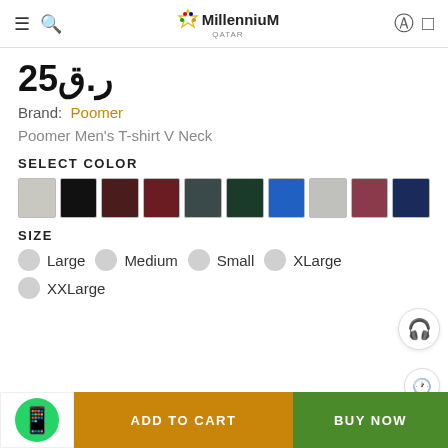Millennium Qatar — navigation header
ر.ق25
Brand: Poomer
Poomer Men's T-shirt V Neck
SELECT COLOR
[Figure (other): Ten color swatches: light gray, black, dark brown, maroon, dark gray, dark green, blue, light gray, rose/mauve, navy]
SIZE
Large
Medium
Small
XLarge
XXLarge
ADD TO CART
BUY NOW